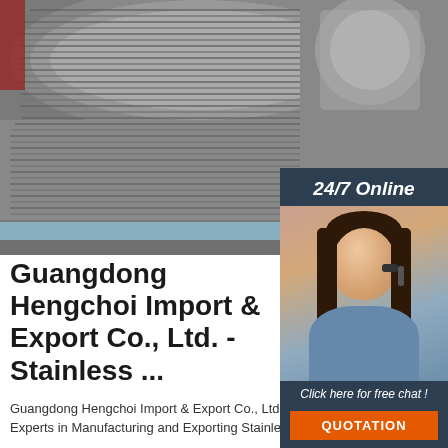[Figure (photo): Stainless steel wire coils in an industrial warehouse setting, with large spools of wire stacked, and a blue horizontal band visible. A red-jacketed figure is partially visible at the left edge.]
[Figure (photo): Customer service representative (woman with headset, smiling) in a dark blue panel widget with '24/7 Online' text, 'Click here for free chat!' prompt, and orange QUOTATION button.]
Guangdong Hengchoi Import & Export Co., Ltd. - Stainless ...
[Figure (logo): TOP badge with orange dots arranged in a triangle above the word TOP in orange text]
Guangdong Hengchoi Import & Export Co., Ltd., Experts in Manufacturing and Exporting Stainless